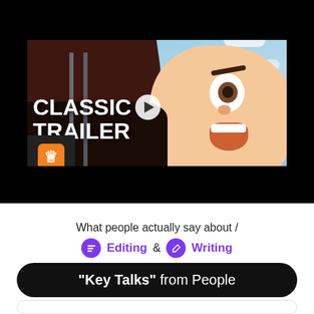[Figure (screenshot): Video thumbnail showing a Toy Story animated scene with Woody's face. Text overlay reads 'CLASSIC TRAILER' with a play button. A Fandango logo badge is visible in the lower left of the video.]
What people actually say about /
Editing & Writing
"Key Talks" from People